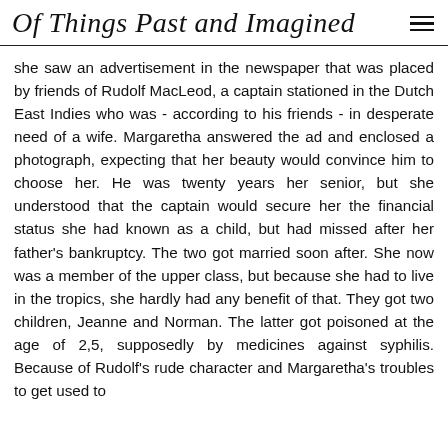Of Things Past and Imagined
she saw an advertisement in the newspaper that was placed by friends of Rudolf MacLeod, a captain stationed in the Dutch East Indies who was - according to his friends - in desperate need of a wife. Margaretha answered the ad and enclosed a photograph, expecting that her beauty would convince him to choose her. He was twenty years her senior, but she understood that the captain would secure her the financial status she had known as a child, but had missed after her father's bankruptcy. The two got married soon after. She now was a member of the upper class, but because she had to live in the tropics, she hardly had any benefit of that. They got two children, Jeanne and Norman. The latter got poisoned at the age of 2,5, supposedly by medicines against syphilis. Because of Rudolf's rude character and Margaretha's troubles to get used to